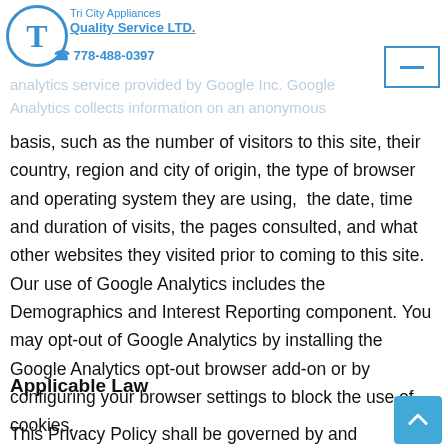Tri City Appliances Quality Service LTD. 778-488-0397
behaviour of visitors to this site. This is a website analytics service provided by Google Inc. Google Analytics collects information on an anonymous basis, such as the number of visitors to this site, their country, region and city of origin, the type of browser and operating system they are using,  the date, time and duration of visits, the pages consulted, and what other websites they visited prior to coming to this site. Our use of Google Analytics includes the Demographics and Interest Reporting component. You may opt-out of Google Analytics by installing the Google Analytics opt-out browser add-on or by configuring your browser settings to block the use of cookies.
Applicable Law
This Privacy Policy shall be governed by and